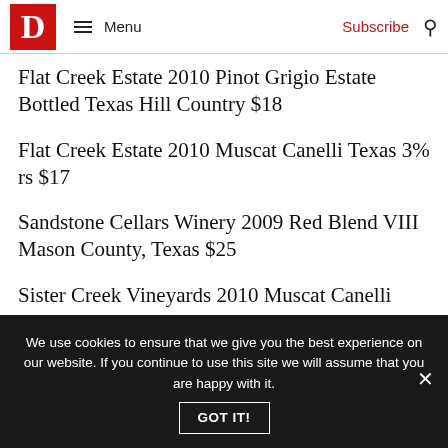D Magazine — Menu | Subscribe
Flat Creek Estate 2010 Pinot Grigio Estate Bottled Texas Hill Country $18
Flat Creek Estate 2010 Muscat Canelli Texas 3% rs $17
Sandstone Cellars Winery 2009 Red Blend VIII Mason County, Texas $25
Sister Creek Vineyards 2010 Muscat Canelli Young Family and Five Star Vineyards Texas High Plains 8%
We use cookies to ensure that we give you the best experience on our website. If you continue to use this site we will assume that you are happy with it.
GOT IT!